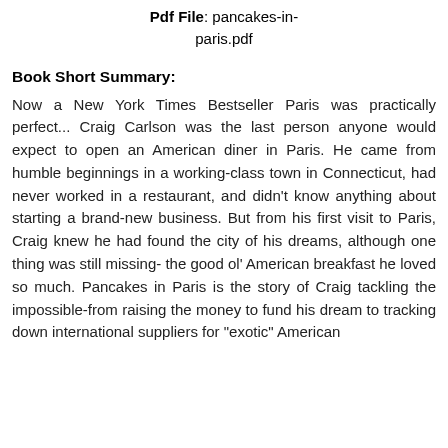Pdf File: pancakes-in-paris.pdf
Book Short Summary:
Now a New York Times Bestseller Paris was practically perfect... Craig Carlson was the last person anyone would expect to open an American diner in Paris. He came from humble beginnings in a working-class town in Connecticut, had never worked in a restaurant, and didn't know anything about starting a brand-new business. But from his first visit to Paris, Craig knew he had found the city of his dreams, although one thing was still missing- the good ol' American breakfast he loved so much. Pancakes in Paris is the story of Craig tackling the impossible-from raising the money to fund his dream to tracking down international suppliers for "exotic" American ingredients and finding the best...